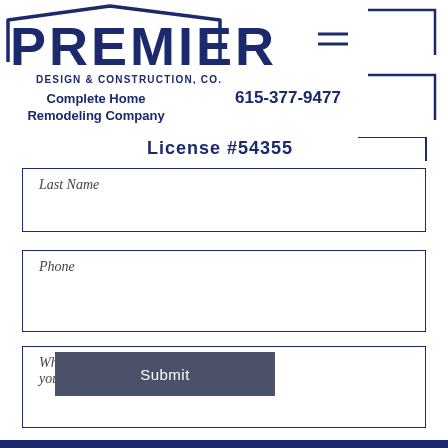[Figure (logo): Premier Design & Construction Co. logo with roof outline graphic, tagline 'Complete Home Remodeling Company', phone number 615-377-9477, and navigation hamburger icon]
License  #54355
Last Name
Phone
What kind of construction work do you need?
Submit